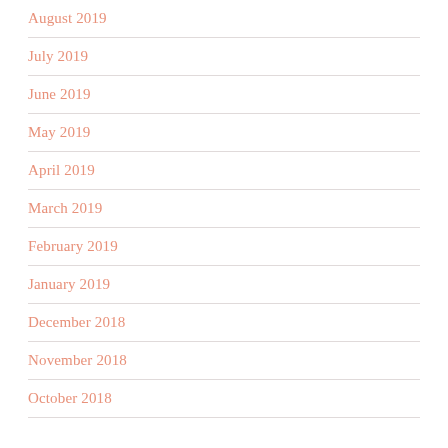August 2019
July 2019
June 2019
May 2019
April 2019
March 2019
February 2019
January 2019
December 2018
November 2018
October 2018